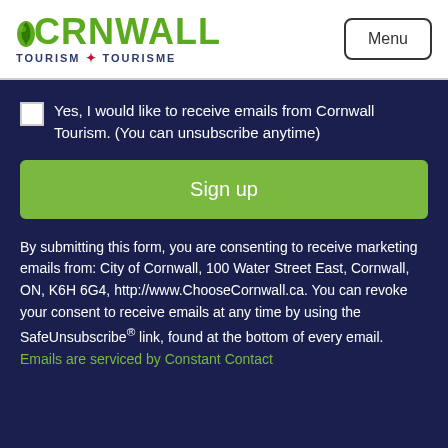CORNWALL TOURISM ✦ TOURISME | Menu
Yes, I would like to receive emails from Cornwall Tourism. (You can unsubscribe anytime)
Sign up
By submitting this form, you are consenting to receive marketing emails from: City of Cornwall, 100 Water Street East, Cornwall, ON, K6H 6G4, http://www.ChooseCornwall.ca. You can revoke your consent to receive emails at any time by using the SafeUnsubscribe® link, found at the bottom of every email. Emails are serviced by Constant Contact